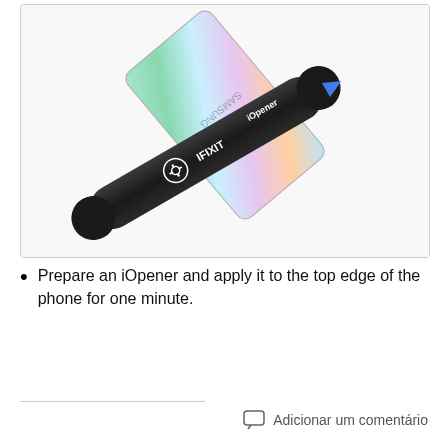[Figure (photo): Photo of an iFixit iOpener heating tool (a black elongated fabric bag with IFIXIT logo) placed diagonally on top of a Samsung Galaxy smartphone with holographic/rainbow back cover. A blue opening pick is visible at the tip of the iOpener.]
Prepare an iOpener and apply it to the top edge of the phone for one minute.
Adicionar um comentário